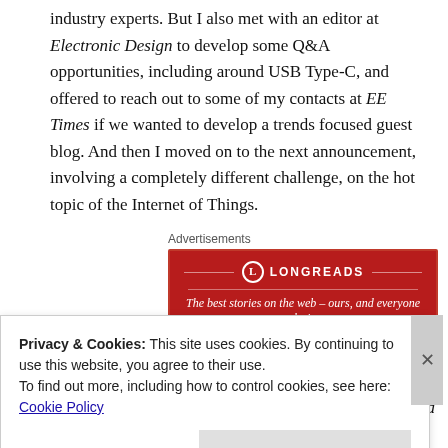industry experts. But I also met with an editor at Electronic Design to develop some Q&A opportunities, including around USB Type-C, and offered to reach out to some of my contacts at EE Times if we wanted to develop a trends focused guest blog. And then I moved on to the next announcement, involving a completely different challenge, on the hot topic of the Internet of Things.
Advertisements
[Figure (other): Longreads advertisement banner: red background with Longreads logo and tagline 'The best stories on the web – ours, and everyone else's.']
Lesson: Leverage corporate position to speak to new and newsworthy trends with editors, in order to get product coverage when the announcement by itself is not especially compelling.
Privacy & Cookies: This site uses cookies. By continuing to use this website, you agree to their use.
To find out more, including how to control cookies, see here: Cookie Policy
Close and accept